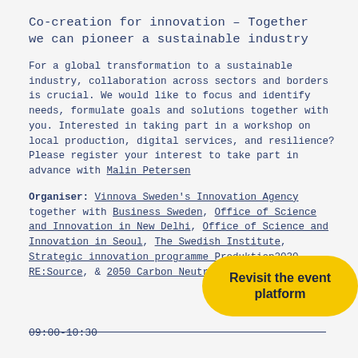Co-creation for innovation – Together we can pioneer a sustainable industry
For a global transformation to a sustainable industry, collaboration across sectors and borders is crucial. We would like to focus and identify needs, formulate goals and solutions together with you. Interested in taking part in a workshop on local production, digital services, and resilience? Please register your interest to take part in advance with Malin Petersen
Organiser: Vinnova Sweden's Innovation Agency together with Business Sweden, Office of Science and Innovation in New Delhi, Office of Science and Innovation in Seoul, The Swedish Institute, Strategic innovation programme Produktion2030, RE:Source, & 2050 Carbon Neutrality Commission
[Figure (other): Yellow rounded button with text 'Revisit the event platform']
09:00-10:30